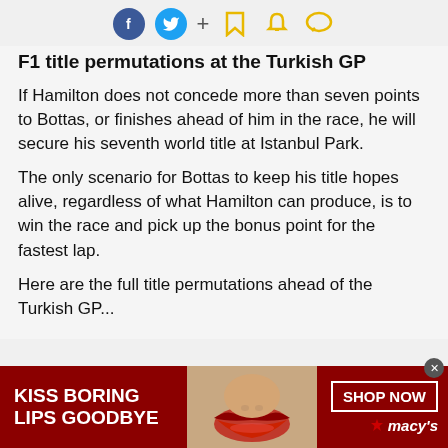Social share icons: Facebook, Twitter, +, bookmark, bell, chat
F1 title permutations at the Turkish GP
If Hamilton does not concede more than seven points to Bottas, or finishes ahead of him in the race, he will secure his seventh world title at Istanbul Park.
The only scenario for Bottas to keep his title hopes alive, regardless of what Hamilton can produce, is to win the race and pick up the bonus point for the fastest lap.
Here are the full title permutations ahead of the Turkish GP...
[Figure (advertisement): Macy's ad banner with red background, text 'KISS BORING LIPS GOODBYE', image of lips, and 'SHOP NOW' button with Macy's star logo]